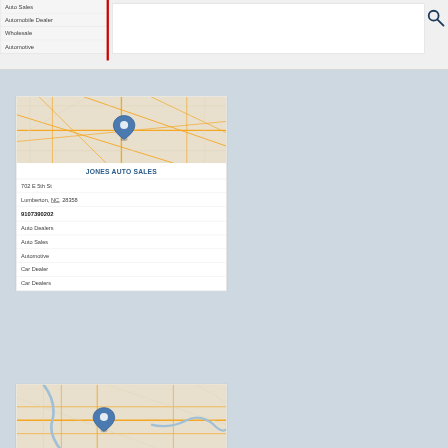Auto Sales
Automobile Dealer
Wholesale
Automotive
[Figure (map): Street map showing location of Jones Auto Sales in Lumberton NC with a blue map pin marker]
JONES AUTO SALES
702 E 5th St
Lumberton, NC, 28358
9107390202
Auto Dealers
Auto Sales
Automotive
Car Dealer
Car Dealers
[Figure (map): Street map showing another business location with a blue map pin marker]